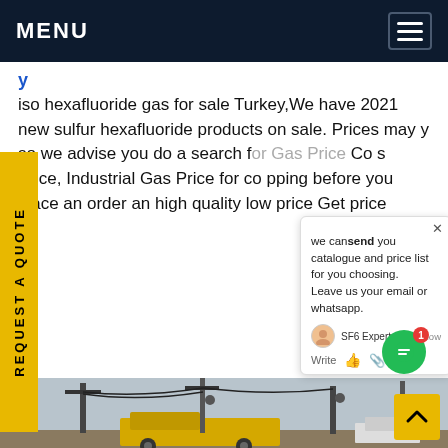MENU
iso hexafluoride gas for sale Turkey,We have 2021 new sulfur hexafluoride products on sale. Prices may y so we advise you do a search for Gas Price Co s Price, Industrial Gas Price for co pping before you place an order an high quality low price Get price
[Figure (screenshot): Chat popup widget showing message: 'we can send you catalogue and price list for you choosing. Leave us your email or whatsapp.' with SF6 Expert label and 'just now' timestamp, Write field with thumbs up and paperclip icons]
[Figure (photo): Industrial electrical substation scene with high-voltage equipment, power lines, transformers, and a yellow utility truck in the foreground]